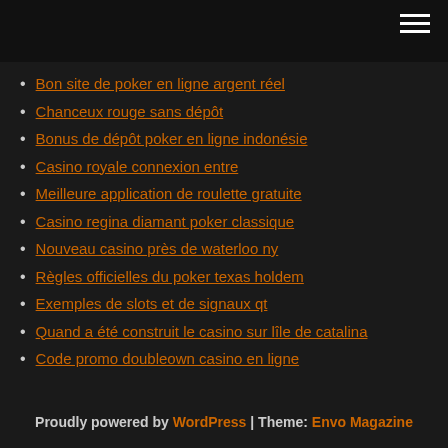Bon site de poker en ligne argent réel
Chanceux rouge sans dépôt
Bonus de dépôt poker en ligne indonésie
Casino royale connexion entre
Meilleure application de roulette gratuite
Casino regina diamant poker classique
Nouveau casino près de waterloo ny
Règles officielles du poker texas holdem
Exemples de slots et de signaux qt
Quand a été construit le casino sur lîle de catalina
Code promo doubleown casino en ligne
Proudly powered by WordPress | Theme: Envo Magazine